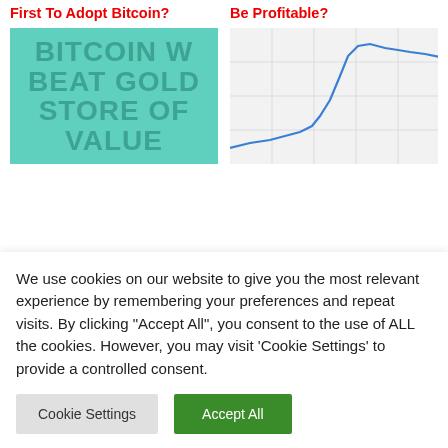First To Adopt Bitcoin?
Be Profitable?
[Figure (illustration): Teal/mint colored image with large bold text reading BITCOIN WILL BEAT GOLD STORE OF VALUE in dark overlay letters]
[Figure (line-chart): A line chart showing a rising trend line in blue on a light gray background with gridlines, trending sharply upward]
Bitcoin Will Beat Gold As Store Of Value, MicroStrategy CEO
Tom Yang On Bitcoin, Transparency And More
We use cookies on our website to give you the most relevant experience by remembering your preferences and repeat visits. By clicking "Accept All", you consent to the use of ALL the cookies. However, you may visit 'Cookie Settings' to provide a controlled consent.
Cookie Settings
Accept All